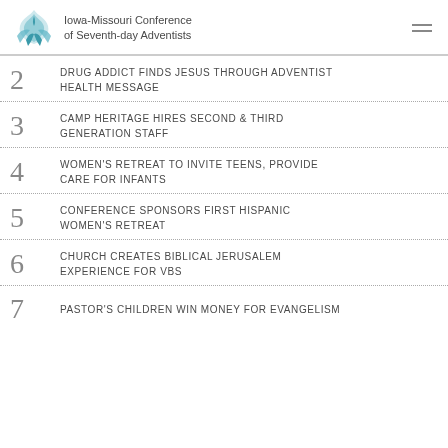Iowa-Missouri Conference of Seventh-day Adventists
2 DRUG ADDICT FINDS JESUS THROUGH ADVENTIST HEALTH MESSAGE
3 CAMP HERITAGE HIRES SECOND & THIRD GENERATION STAFF
4 WOMEN'S RETREAT TO INVITE TEENS, PROVIDE CARE FOR INFANTS
5 CONFERENCE SPONSORS FIRST HISPANIC WOMEN'S RETREAT
6 CHURCH CREATES BIBLICAL JERUSALEM EXPERIENCE FOR VBS
7 PASTOR'S CHILDREN WIN MONEY FOR EVANGELISM